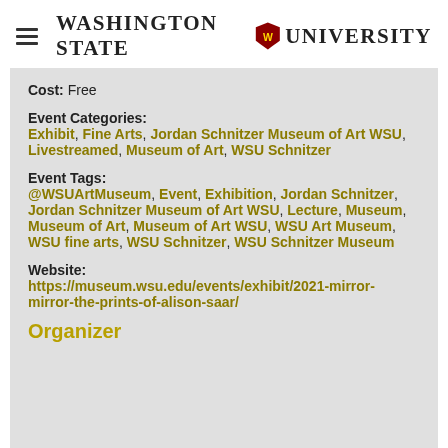Washington State University
Cost: Free
Event Categories: Exhibit, Fine Arts, Jordan Schnitzer Museum of Art WSU, Livestreamed, Museum of Art, WSU Schnitzer
Event Tags: @WSUArtMuseum, Event, Exhibition, Jordan Schnitzer, Jordan Schnitzer Museum of Art WSU, Lecture, Museum, Museum of Art, Museum of Art WSU, WSU Art Museum, WSU fine arts, WSU Schnitzer, WSU Schnitzer Museum
Website: https://museum.wsu.edu/events/exhibit/2021-mirror-mirror-the-prints-of-alison-saar/
Organizer